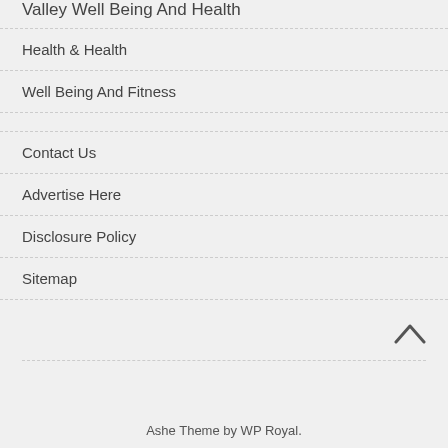Valley Well Being And Health
Health & Health
Well Being And Fitness
Contact Us
Advertise Here
Disclosure Policy
Sitemap
Ashe Theme by WP Royal.